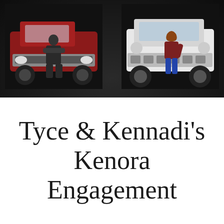[Figure (photo): Two people standing in front of their vehicles on a dark road at night. On the left, a man with crossed arms stands in front of a red pickup truck. On the right, a woman leans against a white Jeep Wrangler. Both vehicles face the camera.]
Tyce & Kennadi's Kenora Engagement